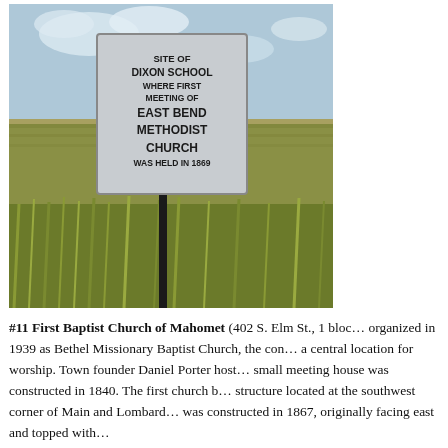[Figure (photo): Photograph of a historical marker sign in a field. The sign reads: 'Site of Dixon School where first meeting of East Bend Methodist Church was held in 1869'. The sign is on a metal post surrounded by tall green/brown wild grasses and crops under a partly cloudy sky.]
#11 First Baptist Church of Mahomet (402 S. Elm St., 1 block... organized in 1939 as Bethel Missionary Baptist Church, the con... a central location for worship. Town founder Daniel Porter host... small meeting house was constructed in 1840. The first church b... structure located at the southwest corner of Main and Lombard... was constructed in 1867, originally facing east and topped with...